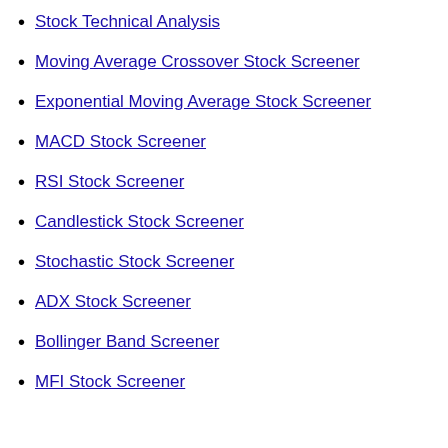Stock Technical Analysis
Moving Average Crossover Stock Screener
Exponential Moving Average Stock Screener
MACD Stock Screener
RSI Stock Screener
Candlestick Stock Screener
Stochastic Stock Screener
ADX Stock Screener
Bollinger Band Screener
MFI Stock Screener